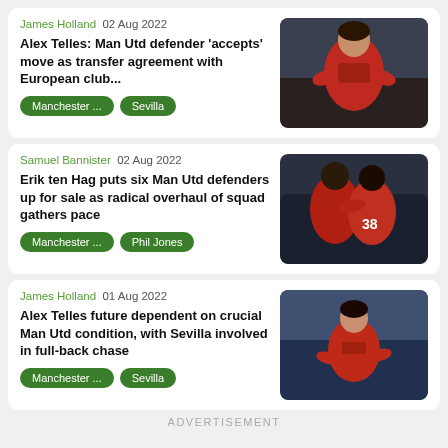James Holland  02 Aug 2022
Alex Telles: Man Utd defender 'accepts' move as transfer agreement with European club...
Manchester ... | Sevilla
[Figure (photo): Manchester United player in red jersey looking up]
Samuel Bannister  02 Aug 2022
Erik ten Hag puts six Man Utd defenders up for sale as radical overhaul of squad gathers pace
Manchester ... | Phil Jones
[Figure (photo): Two Manchester United players in red jerseys embracing, number 38 visible]
James Holland  01 Aug 2022
Alex Telles future dependent on crucial Man Utd condition, with Sevilla involved in full-back chase
Manchester ... | Sevilla
[Figure (photo): Manchester United player in red jersey celebrating]
ADVERTISEMENT